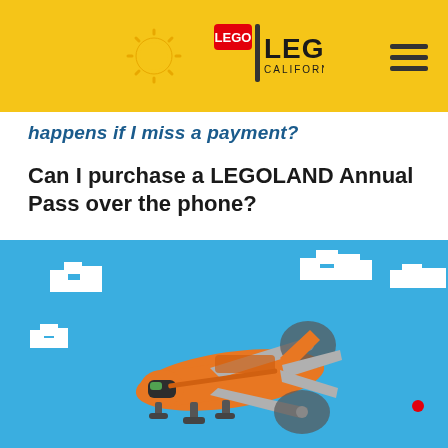LEGOLAND California Resort
happens if I miss a payment?
Can I purchase a LEGOLAND Annual Pass over the phone?
[Figure (illustration): LEGO orange twin-propeller cargo airplane flying through blue sky with blocky white LEGO clouds]